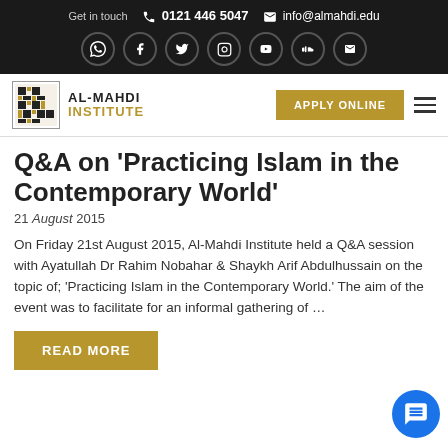Get in touch  0121 446 5047  info@almahdi.edu
[Figure (other): Social media icons row: WhatsApp, Facebook, Twitter, Instagram, YouTube, SoundCloud, Email]
[Figure (logo): Al-Mahdi Institute logo with grid icon and text AL-MAHDI INSTITUTE]
APPLY ONLINE
Q&A on 'Practicing Islam in the Contemporary World'
21 August 2015
On Friday 21st August 2015, Al-Mahdi Institute held a Q&A session with Ayatullah Dr Rahim Nobahar & Shaykh Arif Abdulhussain on the topic of; 'Practicing Islam in the Contemporary World.' The aim of the event was to facilitate for an informal gathering of …
READ MORE